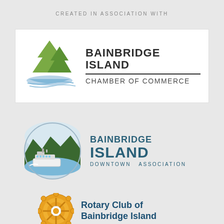CREATED IN ASSOCIATION WITH
[Figure (logo): Bainbridge Island Chamber of Commerce logo with green tree/sailboat icon and text]
[Figure (logo): Bainbridge Island Downtown Association logo with circular ferry/island scene and text]
[Figure (logo): Rotary Club of Bainbridge Island logo with gold rotary gear wheel icon and text]